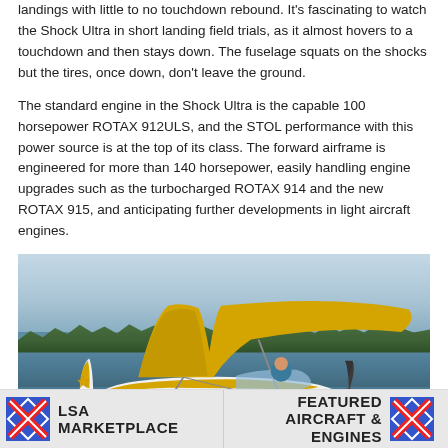landings with little to no touchdown rebound. It's fascinating to watch the Shock Ultra in short landing field trials, as it almost hovers to a touchdown and then stays down. The fuselage squats on the shocks but the tires, once down, don't leave the ground.
The standard engine in the Shock Ultra is the capable 100 horsepower ROTAX 912ULS, and the STOL performance with this power source is at the top of its class. The forward airframe is engineered for more than 140 horsepower, easily handling engine upgrades such as the turbocharged ROTAX 914 and the new ROTAX 915, and anticipating further developments in light aircraft engines.
[Figure (photo): Yellow and white seaplane (floatplane) taxiing on water with trees in background. The aircraft has distinctive yellow and white colors with orange/yellow star markings on the tail, and is fitted with yellow floats.]
LSA MARKETPLACE   FEATURED AIRCRAFT & ENGINES